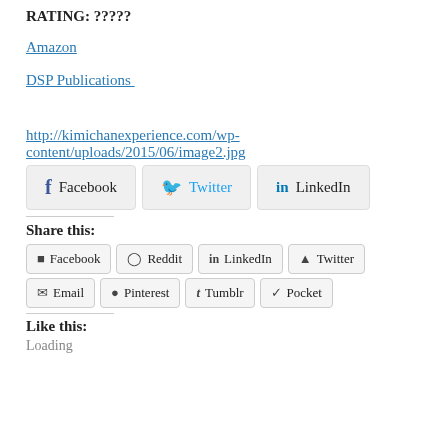RATING: ?????
Amazon
DSP Publications
http://kimichanexperience.com/wp-content/uploads/2015/06/image2.jpg
Facebook  Twitter  LinkedIn  (share buttons)
Share this:
Facebook  Reddit  LinkedIn  Twitter  Email  Pinterest  Tumblr  Pocket
Like this:
Loading